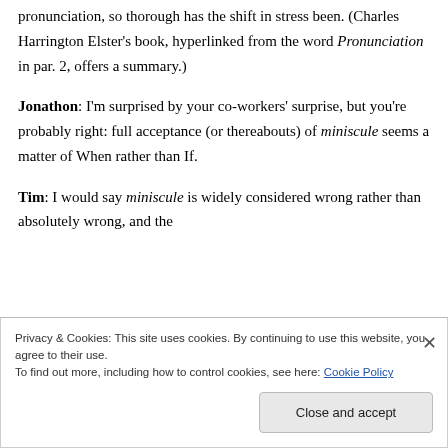pronunciation, so thorough has the shift in stress been. (Charles Harrington Elster's book, hyperlinked from the word Pronunciation in par. 2, offers a summary.)
Jonathon: I'm surprised by your co-workers' surprise, but you're probably right: full acceptance (or thereabouts) of miniscule seems a matter of When rather than If.
Tim: I would say miniscule is widely considered wrong rather than absolutely wrong, and the
Privacy & Cookies: This site uses cookies. By continuing to use this website, you agree to their use.
To find out more, including how to control cookies, see here: Cookie Policy